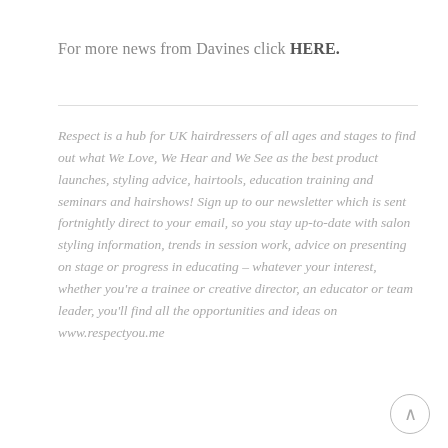For more news from Davines click HERE.
Respect is a hub for UK hairdressers of all ages and stages to find out what We Love, We Hear and We See as the best product launches, styling advice, hairtools, education training and seminars and hairshows! Sign up to our newsletter which is sent fortnightly direct to your email, so you stay up-to-date with salon styling information, trends in session work, advice on presenting on stage or progress in educating – whatever your interest, whether you're a trainee or creative director, an educator or team leader, you'll find all the opportunities and ideas on www.respectyou.me